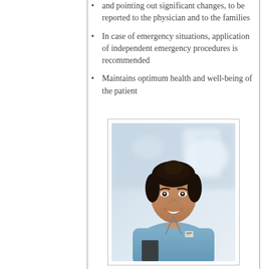and pointing out significant changes, to be reported to the physician and to the families
In case of emergency situations, application of independent emergency procedures is recommended
Maintains optimum health and well-being of the patient
[Figure (photo): A smiling female nurse in blue scrubs, photographed in a hospital corridor, holding a clipboard or device.]